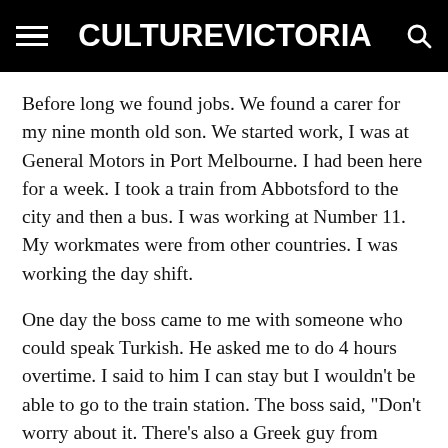CULTURE VICTORIA
Before long we found jobs. We found a carer for my nine month old son. We started work, I was at General Motors in Port Melbourne. I had been here for a week. I took a train from Abbotsford to the city and then a bus. I was working at Number 11. My workmates were from other countries. I was working the day shift.
One day the boss came to me with someone who could speak Turkish. He asked me to do 4 hours overtime. I said to him I can stay but I wouldn't be able to go to the train station. The boss said, "Don't worry about it. There's also a Greek guy from Richmond. The Italian leading hand will give you a